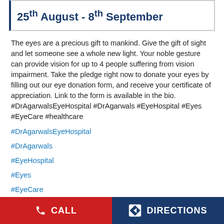25th August - 8th September
The eyes are a precious gift to mankind. Give the gift of sight and let someone see a whole new light. Your noble gesture can provide vision for up to 4 people suffering from vision impairment. Take the pledge right now to donate your eyes by filling out our eye donation form, and receive your certificate of appreciation. Link to the form is available in the bio. #DrAgarwalsEyeHospital #DrAgarwals #EyeHospital #Eyes #EyeCare #healthcare
#DrAgarwalsEyeHospital
#DrAgarwals
#EyeHospital
#Eyes
#EyeCare
#healthcare
Posted On: 25 Aug 2022 12:24 PM